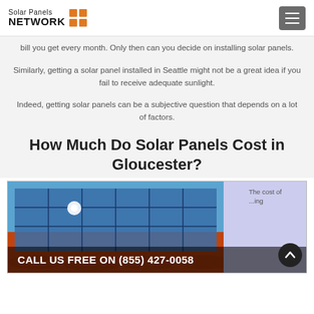Solar Panels NETWORK
bill you get every month. Only then can you decide on installing solar panels.
Similarly, getting a solar panel installed in Seattle might not be a great idea if you fail to receive adequate sunlight.
Indeed, getting solar panels can be a subjective question that depends on a lot of factors.
How Much Do Solar Panels Cost in Gloucester?
[Figure (photo): Solar panels on an orange tiled roof against a blue sky, with sunlight glinting off the panels. A call-to-action bar reads: CALL US FREE ON (855) 427-0058. To the right, partial text reads: The cost of ...ing]
The cost of...ing